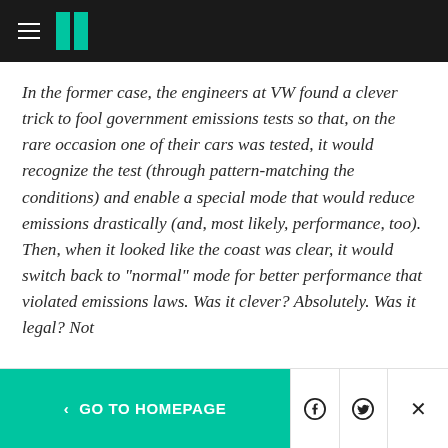HuffPost navigation header with hamburger menu and logo
In the former case, the engineers at VW found a clever trick to fool government emissions tests so that, on the rare occasion one of their cars was tested, it would recognize the test (through pattern-matching the conditions) and enable a special mode that would reduce emissions drastically (and, most likely, performance, too). Then, when it looked like the coast was clear, it would switch back to "normal" mode for better performance that violated emissions laws. Was it clever? Absolutely. Was it legal? Not
< GO TO HOMEPAGE | Facebook | Twitter | X